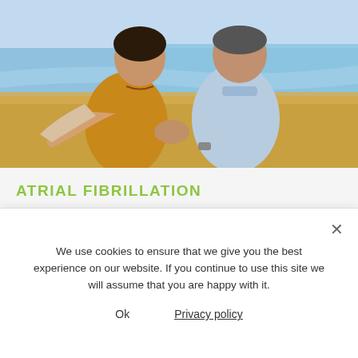[Figure (photo): Two elderly people (a woman in a yellow/mustard top and a man in a light blue polo shirt) walking together on a beach, smiling and laughing. The background shows sand, ocean water, and sky.]
ATRIAL FIBRILLATION
Cardiovascular and circulatory
We use cookies to ensure that we give you the best experience on our website. If you continue to use this site we will assume that you are happy with it.
Ok
Privacy policy